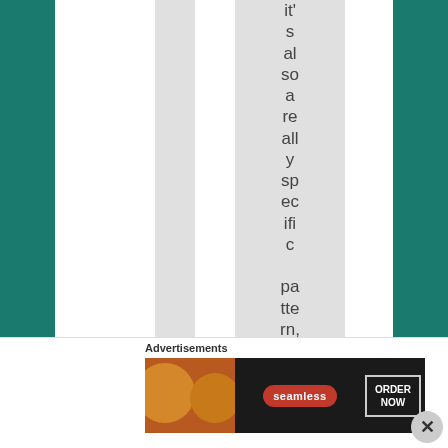it's also a really specific pattern, Chic
Advertisements
[Figure (screenshot): Seamless food delivery advertisement banner with pizza image, Seamless logo, and ORDER NOW button]